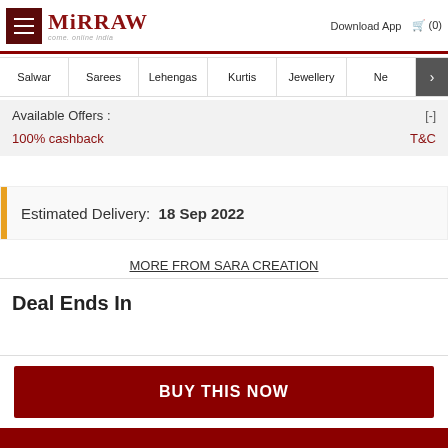Mirraw — come, online India. Download App (0) Cart
Salwar | Sarees | Lehengas | Kurtis | Jewellery | Ne >
Available Offers : [-]
100% cashback   T&C
Estimated Delivery: 18 Sep 2022
MORE FROM SARA CREATION
Deal Ends In
BUY THIS NOW